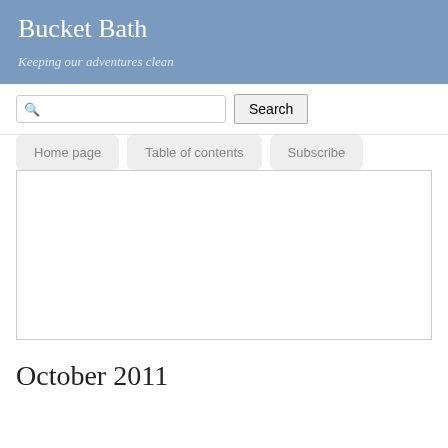Bucket Bath
Keeping our adventures clean
Search
Home page
Table of contents
Subscribe
[Figure (screenshot): Empty white content box area]
October 2011